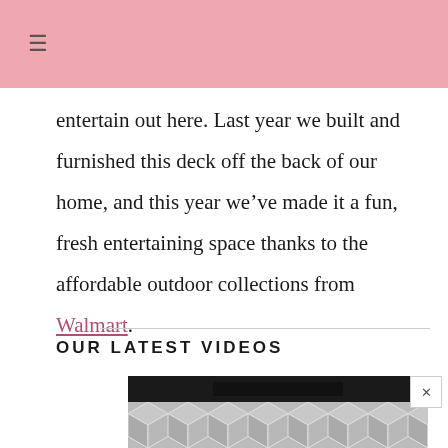≡
entertain out here. Last year we built and furnished this deck off the back of our home, and this year we've made it a fun, fresh entertaining space thanks to the affordable outdoor collections from Walmart.
OUR LATEST VIDEOS
[Figure (screenshot): Video player thumbnail with dark header bar containing a black rectangle, and a geometric hexagonal/cube pattern in grey below it. A close button (×) appears to the right.]